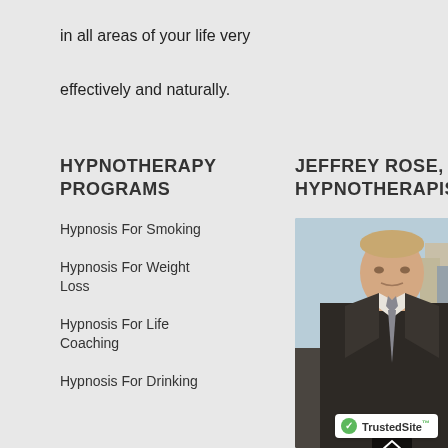in all areas of your life very effectively and naturally.
HYPNOTHERAPY PROGRAMS
JEFFREY ROSE, HYPNOTHERAPIST
Hypnosis For Smoking
Hypnosis For Weight Loss
Hypnosis For Life Coaching
Hypnosis For Drinking
[Figure (photo): Portrait photo of Jeffrey Rose, a hypnotherapist, wearing a dark suit and grey tie, standing in front of a city skyline backdrop]
TrustedSite